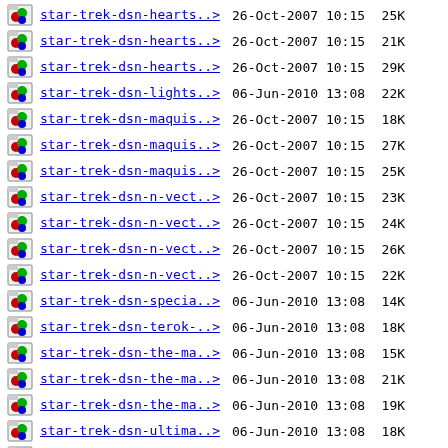star-trek-dsn-hearts..> 26-Oct-2007 10:15 25K
star-trek-dsn-hearts..> 26-Oct-2007 10:15 21K
star-trek-dsn-hearts..> 26-Oct-2007 10:15 29K
star-trek-dsn-lights..> 06-Jun-2010 13:08 22K
star-trek-dsn-maquis..> 26-Oct-2007 10:15 18K
star-trek-dsn-maquis..> 26-Oct-2007 10:15 27K
star-trek-dsn-maquis..> 26-Oct-2007 10:15 25K
star-trek-dsn-n-vect..> 26-Oct-2007 10:15 23K
star-trek-dsn-n-vect..> 26-Oct-2007 10:15 24K
star-trek-dsn-n-vect..> 26-Oct-2007 10:15 26K
star-trek-dsn-n-vect..> 26-Oct-2007 10:15 22K
star-trek-dsn-specia..> 06-Jun-2010 13:08 14K
star-trek-dsn-terok-..> 06-Jun-2010 13:08 18K
star-trek-dsn-the-ma..> 06-Jun-2010 13:08 15K
star-trek-dsn-the-ma..> 06-Jun-2010 13:08 21K
star-trek-dsn-the-ma..> 06-Jun-2010 13:08 19K
star-trek-dsn-ultima..> 06-Jun-2010 13:08 18K